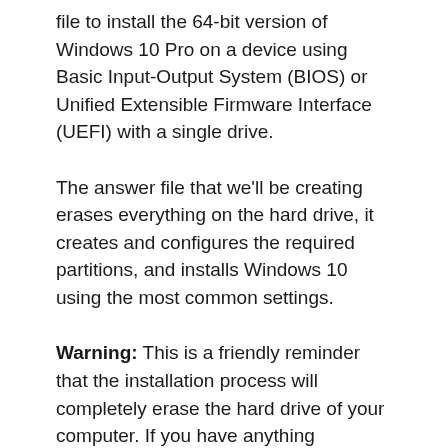file to install the 64-bit version of Windows 10 Pro on a device using Basic Input-Output System (BIOS) or Unified Extensible Firmware Interface (UEFI) with a single drive.
The answer file that we'll be creating erases everything on the hard drive, it creates and configures the required partitions, and installs Windows 10 using the most common settings.
Warning: This is a friendly reminder that the installation process will completely erase the hard drive of your computer. If you have anything important on this device, it's recommended to make a full backup of your PC before proceeding.